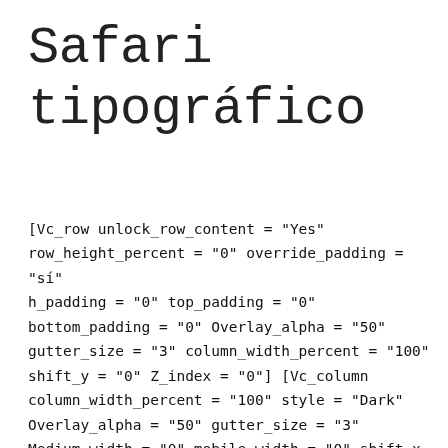Safari tipográfico
[Vc_row unlock_row_content = "Yes" row_height_percent = "0" override_padding = "sí" h_padding = "0" top_padding = "0" bottom_padding = "0" Overlay_alpha = "50" gutter_size = "3" column_width_percent = "100" shift_y = "0" Z_index = "0"][Vc_column column_width_percent = "100" style = "Dark" Overlay_alpha = "50" gutter_size = "3" Medium_width = "0" mobile_width = "0" shift_x = "0" shift_y = "0" Shift_y_down = "0" Z_index = "0" ancho = "1/1"][Vc_gallery el_id = "Gallery-9751014" Isotope_mode = "packery" RANDOM = "sí" media = " 75180, 75179, 75178, 75177, 75176, 75175